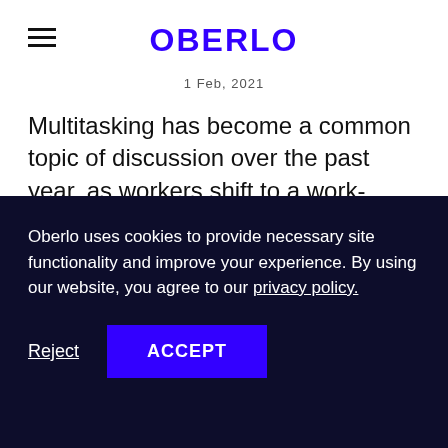OBERLO
1 Feb, 2021
Multitasking has become a common topic of discussion over the past year, as workers shift to a work-from-home arrangement as the world battles the coronavirus pandemic.
But just how effective is it? Does it really help
Oberlo uses cookies to provide necessary site functionality and improve your experience. By using our website, you agree to our privacy policy.
Reject   ACCEPT